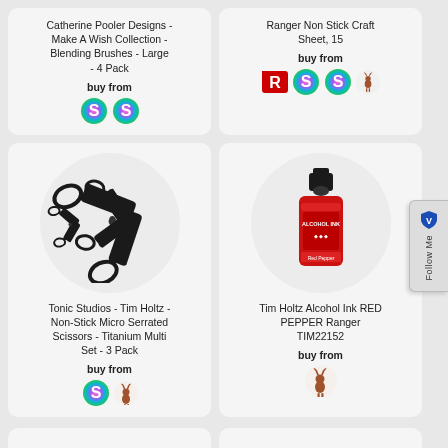Catherine Pooler Designs - Make A Wish Collection - Blending Brushes - Large - 4 Pack
buy from
[Figure (logo): Two colorful S-shaped store icons (Simon Says Stamp logos)]
Ranger Non Stick Craft Sheet, 15
buy from
[Figure (logo): Four store icons: Ranger R logo, two S logos, deer logo]
[Figure (photo): Three black titanium micro serrated scissors of different sizes on white circle background]
Tonic Studios - Tim Holtz - Non-Stick Micro Serrated Scissors - Titanium Multi Set - 3 Pack
buy from
[Figure (logo): S logo and deer logo store icons]
[Figure (photo): Tim Holtz Alcohol Ink RED PEPPER bottle in red and black on white circle background]
Tim Holtz Alcohol Ink RED PEPPER Ranger TIM22152
buy from
[Figure (logo): Deer store icon]